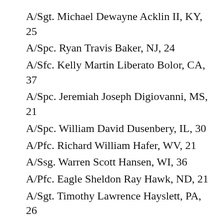A/Sgt. Michael Dewayne Acklin II, KY, 25
A/Spc. Ryan Travis Baker, NJ, 24
A/Sfc. Kelly Martin Liberato Bolor, CA, 37
A/Spc. Jeremiah Joseph Digiovanni, MS, 21
A/Spc. William David Dusenbery, IL, 30
A/Pfc. Richard William Hafer, WV, 21
A/Ssg. Warren Scott Hansen, WI, 36
A/Pfc. Eagle Sheldon Ray Hawk, ND, 21
A/Sgt. Timothy Lawrence Hayslett, PA, 26